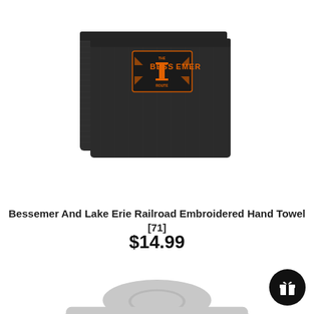[Figure (photo): Dark charcoal/black embroidered hand towel with orange Bessemer Route logo embroidered on a square patch in the corner. Two towels folded together.]
Bessemer And Lake Erie Railroad Embroidered Hand Towel [71]
$14.99
[Figure (photo): Light gray crew-neck sweatshirt with Bessemer and Lake Erie Railroad logo and a printed image of an orange BLE locomotive train on the front.]